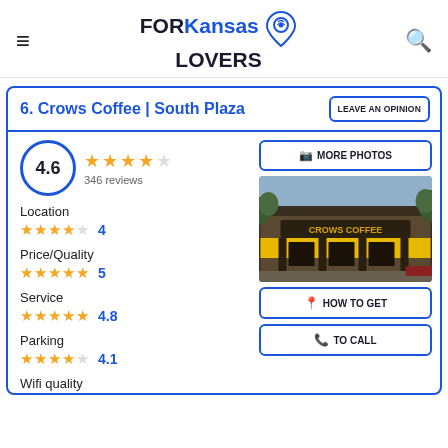[Figure (logo): FORKansas LOVERS logo with location pin icon]
6. Crows Coffee | South Plaza
LEAVE AN OPINION
4.6 — 346 reviews — 4.5 stars
Location — 4 stars — 4
Price/Quality — 5 stars — 5
Service — 5 stars — 4.8
Parking — 4 stars — 4.1
Wifi quality
[Figure (photo): Exterior photo of Crows Coffee South Plaza location showing the storefront with yellow-lit awning and trees]
MORE PHOTOS
HOW TO GET
TO CALL